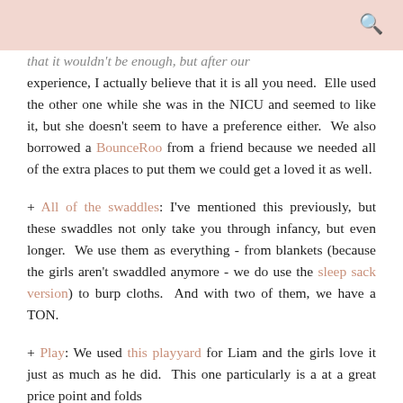that it wouldn't be enough, but after our experience, I actually believe that it is all you need.  Elle used the other one while she was in the NICU and seemed to like it, but she doesn't seem to have a preference either.  We also borrowed a BounceRoo from a friend because we needed all of the extra places to put them we could get a loved it as well.
+ All of the swaddles: I've mentioned this previously, but these swaddles not only take you through infancy, but even longer.  We use them as everything - from blankets (because the girls aren't swaddled anymore - we do use the sleep sack version) to burp cloths.  And with two of them, we have a TON.
+ Play: We used this playyard for Liam and the girls love it just as much as he did.  This one particularly is a at a great price point and folds